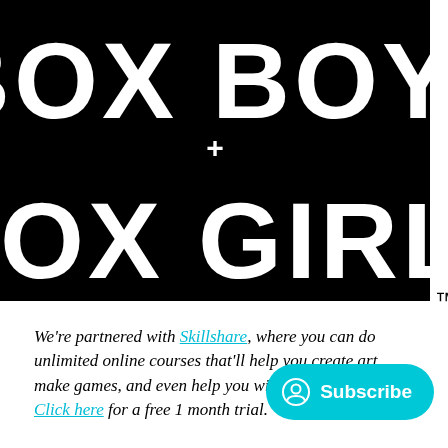[Figure (logo): BOXBOY! + BOXGIRL! logo in white text on black background with TM mark]
We're partnered with Skillshare, where you can do unlimited online courses that'll help you create art, make games, and even help you with school/university! Click here for a free 1 month trial.
BOXBOY! + BOXGIRL! may start off pretty simple, but it gets tricky pretty quickly. So let's get started on the co-op segment: World 6 (Qbby a[nd Qbella]).
As there is a lot to cover, you may stumble across a